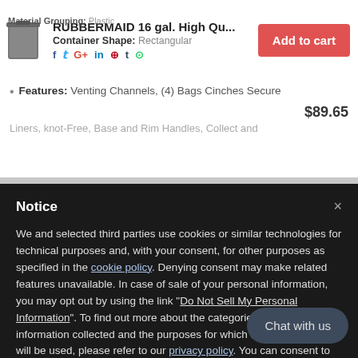Material Grouping: Plastic
RUBBERMAID 16 gal. High Qu...
Container Shape: Rectangular
Add to cart
Features: Venting Channels, (4) Bags Cinches Secure
$89.65
Liners, knot-Free, Base and Rim Handles, Collect and
Notice
We and selected third parties use cookies or similar technologies for technical purposes and, with your consent, for other purposes as specified in the cookie policy. Denying consent may make related features unavailable. In case of sale of your personal information, you may opt out by using the link "Do Not Sell My Personal Information". To find out more about the categories of personal information collected and the purposes for which such information will be used, please refer to our privacy policy. You can consent to the use of such technologies , by scrolling this page, by interacting with any li... outside of this notice or by continuing to b... By closing this notice, you continue withou...
Chat with us